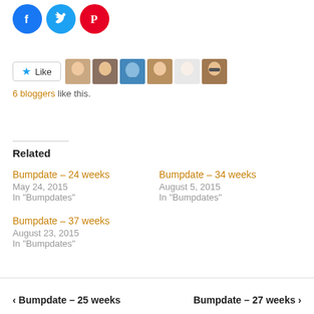[Figure (other): Social share icons: Facebook (blue circle), Twitter (blue circle), Pinterest (red circle)]
[Figure (other): Like button with star icon and 6 blogger avatar thumbnails]
6 bloggers like this.
Related
Bumpdate – 24 weeks
May 24, 2015
In "Bumpdates"
Bumpdate – 34 weeks
August 5, 2015
In "Bumpdates"
Bumpdate – 37 weeks
August 23, 2015
In "Bumpdates"
< Bumpdate – 25 weeks      Bumpdate – 27 weeks >